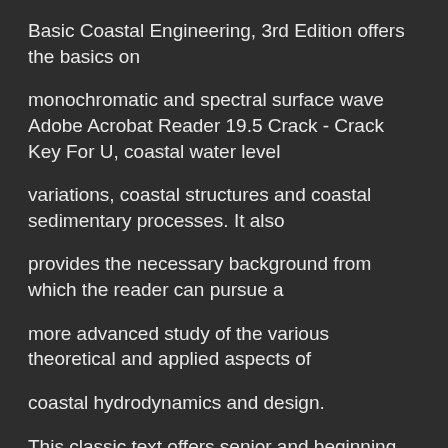Basic Coastal Engineering, 3rd Edition offers the basics on monochromatic and spectral surface wave Adobe Acrobat Reader 19.5 Crack - Crack Key For U, coastal water level variations, coastal structures and coastal sedimentary processes. It also provides the necessary background from which the reader can pursue a more advanced study of the various theoretical and applied aspects of coastal hydrodynamics and design. This classic text offers senior and beginning post-graduate students in